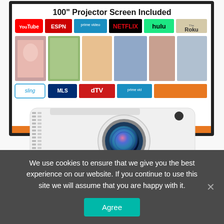[Figure (photo): Product photo of a TOPVISION mini projector with a projection screen showing streaming service logos (YouTube, ESPN, Prime Video, Netflix, Hulu, Roku) and family photos. Text reads '100" Projector Screen Included'. The white compact projector sits in front of the screen showing its lens and ventilation grilles.]
We use cookies to ensure that we give you the best experience on our website. If you continue to use this site we will assume that you are happy with it.